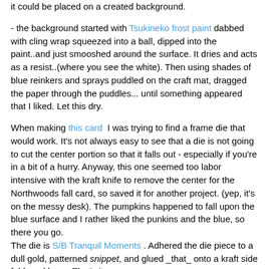it could be placed on a created background.
- the background started with Tsukineko frost paint dabbed with cling wrap squeezed into a ball, dipped into the paint..and just smooshed around the surface. It dries and acts as a resist..(where you see the white). Then using shades of blue reinkers and sprays puddled on the craft mat, dragged the paper through the puddles... until something appeared that I liked. Let this dry.
When making this card I was trying to find a frame die that would work. It's not always easy to see that a die is not going to cut the center portion so that it falls out - especially if you're in a bit of a hurry. Anyway, this one seemed too labor intensive with the kraft knife to remove the center for the Northwoods fall card, so saved it for another project. (yep, it's on the messy desk). The pumpkins happened to fall upon the blue surface and I rather liked the punkins and the blue, so there you go. The die is S/B Tranquil Moments . Adhered the die piece to a dull gold, patterned snippet, and glued _that_ onto a kraft side fold card base. That's it.